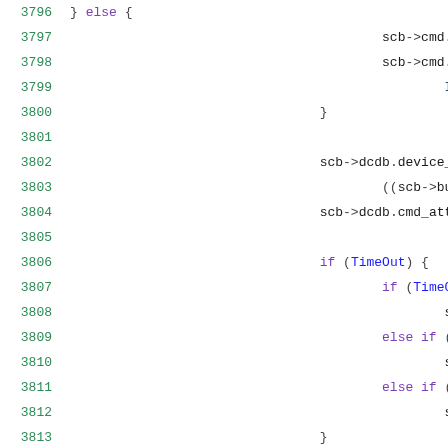[Figure (screenshot): Source code listing showing lines 3796-3817 of a C/C++ file with line numbers on the left in green and code on the right. The code involves scb->cmd.dcdb, scb->dcdb device address and attribute assignments, TimeOut conditionals, and transfer length logic.]